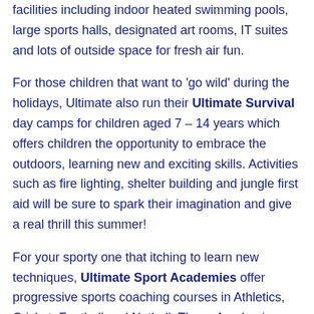facilities including indoor heated swimming pools, large sports halls, designated art rooms, IT suites and lots of outside space for fresh air fun.
For those children that want to 'go wild' during the holidays, Ultimate also run their Ultimate Survival day camps for children aged 7 – 14 years which offers children the opportunity to embrace the outdoors, learning new and exciting skills. Activities such as fire lighting, shelter building and jungle first aid will be sure to spark their imagination and give a real thrill this summer!
For your sporty one that itching to learn new techniques, Ultimate Sport Academies offer progressive sports coaching courses in Athletics, Cricket, Football and Netball. These Academies are run by first-class coaches who are joined by 'Star